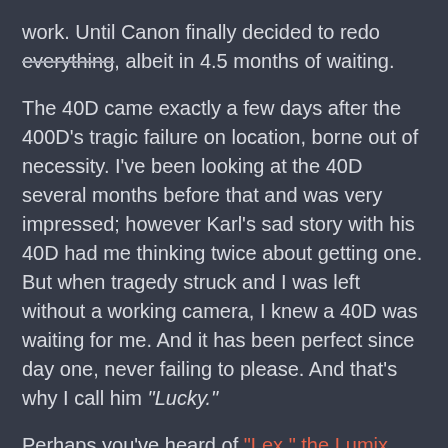work. Until Canon finally decided to redo everything, albeit in 4.5 months of waiting.
The 40D came exactly a few days after the 400D's tragic failure on location, borne out of necessity. I've been looking at the 40D several months before that and was very impressed; however Karl's sad story with his 40D had me thinking twice about getting one. But when tragedy struck and I was left without a working camera, I knew a 40D was waiting for me. And it has been perfect since day one, never failing to please. And that's why I call him "Lucky."
Perhaps you've heard of "Lex," the Lumix LX3. This is the camera I carry with me everyday.